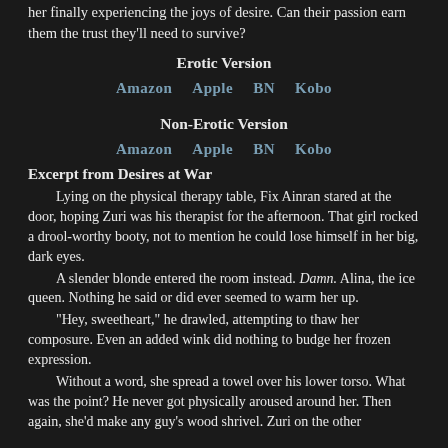her finally experiencing the joys of desire. Can their passion earn them the trust they'll need to survive?
Erotic Version
Amazon   Apple   BN   Kobo
Non-Erotic Version
Amazon   Apple   BN   Kobo
Excerpt from Desires at War
Lying on the physical therapy table, Fix Ainran stared at the door, hoping Zuri was his therapist for the afternoon. That girl rocked a drool-worthy booty, not to mention he could lose himself in her big, dark eyes.
	A slender blonde entered the room instead. Damn. Alina, the ice queen. Nothing he said or did ever seemed to warm her up.
	"Hey, sweetheart," he drawled, attempting to thaw her composure. Even an added wink did nothing to budge her frozen expression.
	Without a word, she spread a towel over his lower torso. What was the point? He never got physically aroused around her. Then again, she'd make any guy's wood shrivel. Zuri on the other